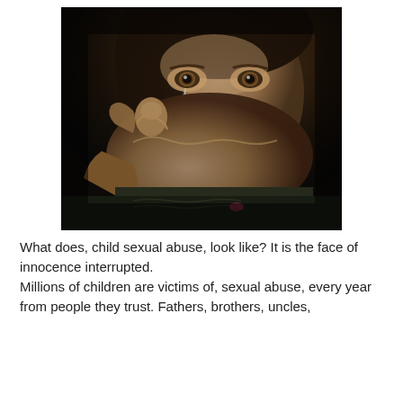[Figure (photo): A dramatic dark photograph showing a child's face with tears in their eyes, and an adult hand covering the child's mouth, symbolizing child abuse or silencing.]
What does, child sexual abuse, look like? It is the face of innocence interrupted.
Millions of children are victims of, sexual abuse, every year from people they trust. Fathers, brothers, uncles,